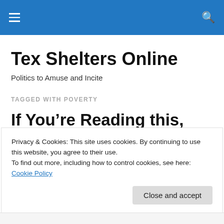Tex Shelters Online — navigation bar
Tex Shelters Online
Politics to Amuse and Incite
TAGGED WITH POVERTY
If You’re Reading this, You’re Part of the 99%
Privacy & Cookies: This site uses cookies. By continuing to use this website, you agree to their use.
To find out more, including how to control cookies, see here: Cookie Policy